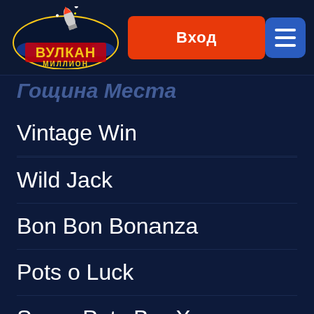[Figure (logo): Вулкан Миллион casino logo with yellow circular border, rocket graphic, ВУЛКАН text in yellow, МИЛЛИОН text below]
Вход
[Figure (other): Hamburger menu button (three horizontal lines) on blue background]
Гощина Места (partial, cut off at top)
Vintage Win
Wild Jack
Bon Bon Bonanza
Pots o Luck
Super Pots Bar X
Free Spin City